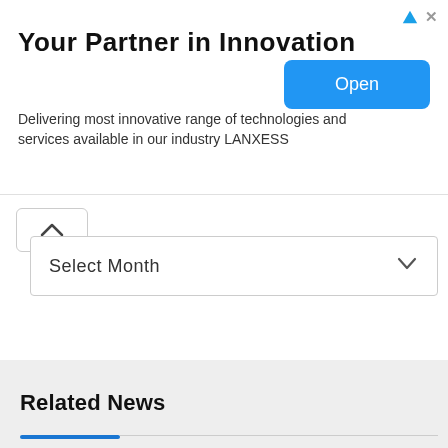[Figure (screenshot): Advertisement banner for LANXESS: 'Your Partner in Innovation' with blue Open button]
Your Partner in Innovation
Delivering most innovative range of technologies and services available in our industry LANXESS
Select Month
Related News